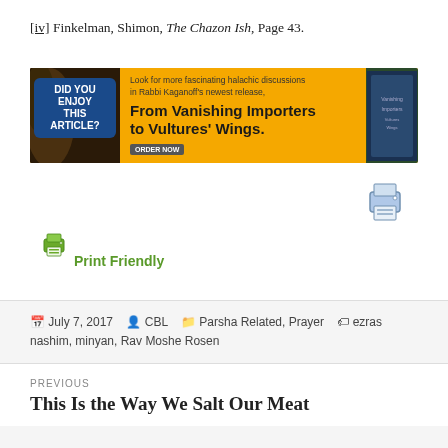[iv] Finkelman, Shimon, The Chazon Ish, Page 43.
[Figure (other): Advertisement banner for 'From Vanishing Importers to Vultures' Wings' by Rabbi Kaganoff. Yellow background with blue badge on left reading 'DID YOU ENJOY THIS ARTICLE?' and book image on right with ORDER NOW button.]
[Figure (other): Printer icon (large, top right area)]
[Figure (other): Printer icon (small, left side) with Print Friendly text link in green]
July 7, 2017  CBL  Parsha Related, Prayer  ezras nashim, minyan, Rav Moshe Rosen
PREVIOUS
This Is the Way We Salt Our Meat